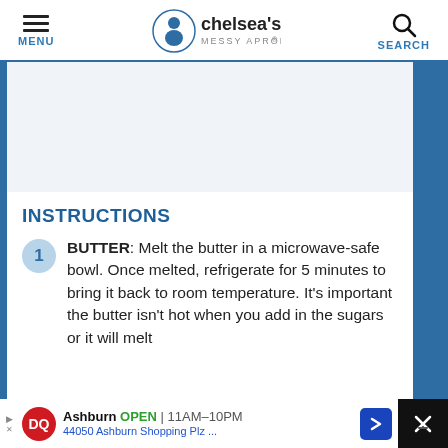MENU | chelsea's MESSY APRON® | SEARCH
[Figure (other): Blank/advertisement placeholder area]
INSTRUCTIONS
BUTTER: Melt the butter in a microwave-safe bowl. Once melted, refrigerate for 5 minutes to bring it back to room temperature. It's important the butter isn't hot when you add in the sugars or it will melt
[Figure (other): Dairy Queen advertisement banner: Ashburn OPEN 11AM-10PM, 44050 Ashburn Shopping Plz ...]